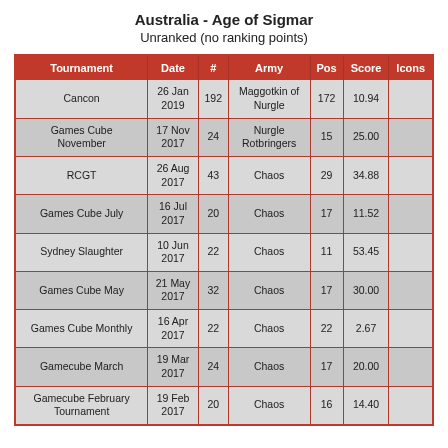Australia - Age of Sigmar
Unranked (no ranking points)
| Tournament | Date | # | Army | Pos | Score | Icons |
| --- | --- | --- | --- | --- | --- | --- |
| Cancon | 26 Jan 2019 | 192 | Maggotkin of Nurgle | 172 | 10.94 |  |
| Games Cube November | 17 Nov 2017 | 24 | Nurgle Rotbringers | 15 | 25.00 |  |
| RCGT | 26 Aug 2017 | 43 | Chaos | 29 | 34.88 |  |
| Games Cube July | 16 Jul 2017 | 20 | Chaos | 17 | 11.52 |  |
| Sydney Slaughter | 10 Jun 2017 | 22 | Chaos | 11 | 53.45 |  |
| Games Cube May | 21 May 2017 | 32 | Chaos | 17 | 30.00 |  |
| Games Cube Monthly | 16 Apr 2017 | 22 | Chaos | 22 | 2.67 |  |
| Gamecube March | 19 Mar 2017 | 24 | Chaos | 17 | 20.00 |  |
| Gamecube February Tournament | 19 Feb 2017 | 20 | Chaos | 16 | 14.40 |  |